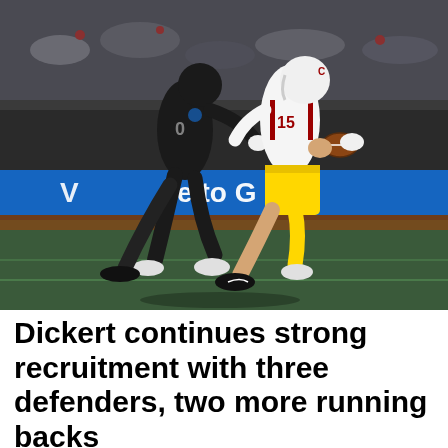[Figure (photo): College football action photo showing a USC Trojans receiver in white and gold uniform with number 15 catching a football while being defended by a Washington State Cougars player in black uniform. The game is played on a green turf field. A blue LED advertisement board in the background reads 'Welcome to G...' (partially obscured). Stadium crowd visible in stands.]
Dickert continues strong recruitment with three defenders, two more running backs